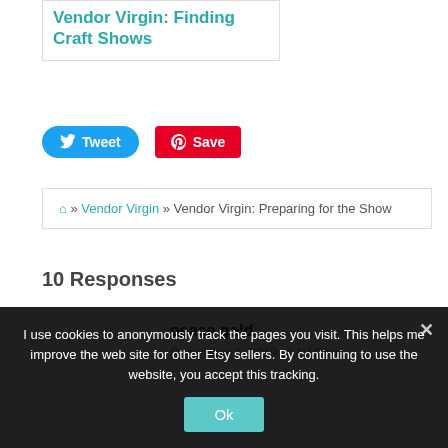Vendor Virgin: Finding Craft Shows
Tweet
Save
🏠 » Vendor Virgin » Vendor Virgin: Preparing for the Show
10 Responses
peace gold
December 3, 2019 at 1:18 am
I use cookies to anonymously track the pages you visit. This helps me improve the web site for other Etsy sellers. By continuing to use the website, you accept this tracking.